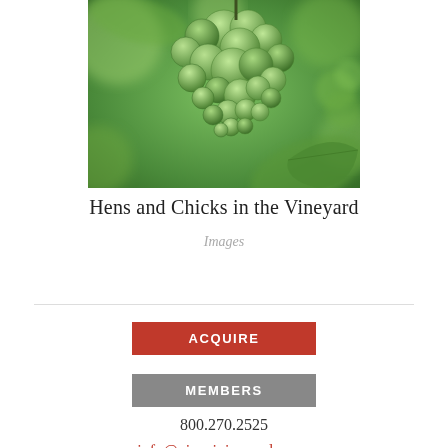[Figure (photo): Close-up photograph of green grape clusters on a vine in a vineyard, with blurred green leaf background]
Hens and Chicks in the Vineyard
Images
ACQUIRE
MEMBERS
800.270.2525
info@pisonivineyards.com